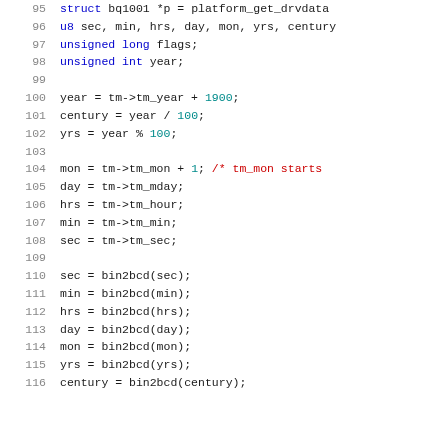[Figure (screenshot): Source code listing showing C code lines 95-116 with syntax highlighting. Line numbers in grey on left, keywords in blue, numbers in teal/cyan, comments in red, plain code in dark/black.]